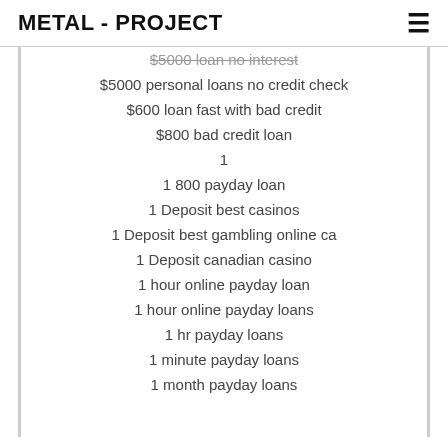METAL - PROJECT
$5000 loan no interest
$5000 personal loans no credit check
$600 loan fast with bad credit
$800 bad credit loan
1
1 800 payday loan
1 Deposit best casinos
1 Deposit best gambling online ca
1 Deposit canadian casino
1 hour online payday loan
1 hour online payday loans
1 hr payday loans
1 minute payday loans
1 month payday loans